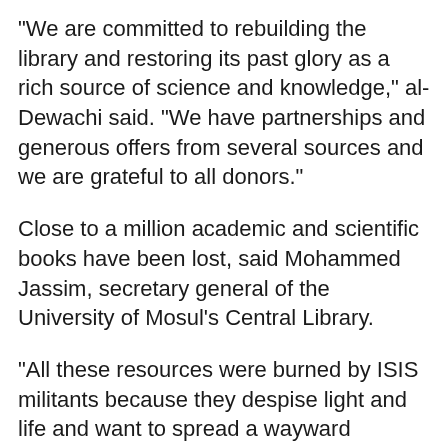"We are committed to rebuilding the library and restoring its past glory as a rich source of science and knowledge," al-Dewachi said. "We have partnerships and generous offers from several sources and we are grateful to all donors."
Close to a million academic and scientific books have been lost, said Mohammed Jassim, secretary general of the University of Mosul's Central Library.
"All these resources were burned by ISIS militants because they despise light and life and want to spread a wayward ideology and poison the minds of students," he told Diyaruna.